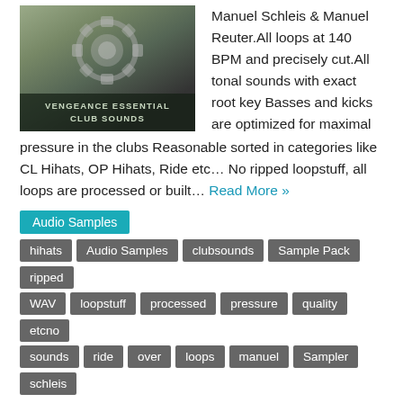[Figure (photo): Vengeance Essential Club Sounds album art — dark metallic background with a gear/cog image and white bold text label at the bottom reading VENGEANCE ESSENTIAL CLUB SOUNDS]
Manuel Schleis & Manuel Reuter.All loops at 140 BPM and precisely cut.All tonal sounds with exact root key Basses and kicks are optimized for maximal pressure in the clubs Reasonable sorted in categories like CL Hihats, OP Hihats, Ride etc… No ripped loopstuff, all loops are processed or built… Read More »
Audio Samples
hihats
Audio Samples
clubsounds
Sample Pack
ripped
WAV
loopstuff
processed
pressure
quality
etcno
sounds
ride
over
loops
manuel
Sampler
schleis
Vengeance – Effects FX Vol. 1 (WAV)